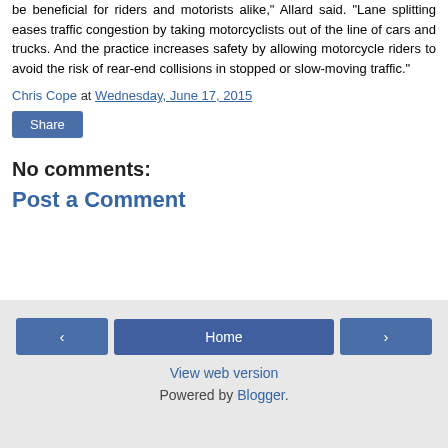be beneficial for riders and motorists alike," Allard said. "Lane splitting eases traffic congestion by taking motorcyclists out of the line of cars and trucks. And the practice increases safety by allowing motorcycle riders to avoid the risk of rear-end collisions in stopped or slow-moving traffic."
Chris Cope at Wednesday, June 17, 2015
Share
No comments:
Post a Comment
< Home > View web version Powered by Blogger.